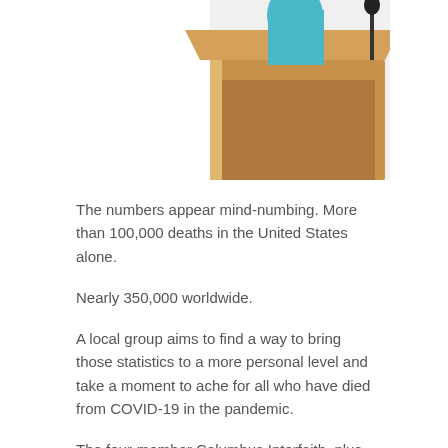[Figure (photo): Person standing at a wooden podium/lectern, wearing a teal/blue outfit, with a microphone visible. Only the upper body and podium are visible, cropped at the top of the page.]
The numbers appear mind-numbing. More than 100,000 deaths in the United States alone.
Nearly 350,000 worldwide.
A local group aims to find a way to bring those statistics to a more personal level and take a moment to ache for all who have died from COVID-19 in the pandemic.
The four-member Columbus Interfaith, plus four other local houses of worship, will join in hearts to remember and honor the world's COVID-19 victims in a virtual